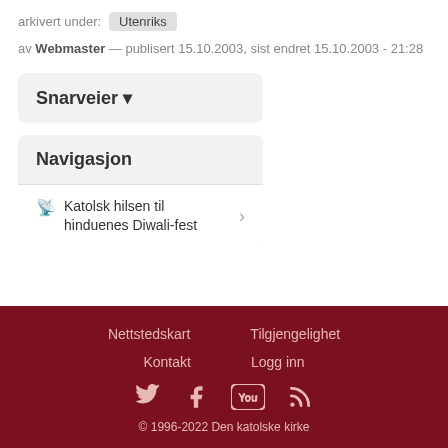arkivert under: Utenriks
av Webmaster — publisert 15.10.2003, sist endret 15.10.2003 - 21:28
Snarveier ▼
Navigasjon
Katolsk hilsen til hinduenes Diwali-fest
Nettstedskart  Tilgjengelighet  Kontakt  Logg inn  © 1996-2022 Den katolske kirke